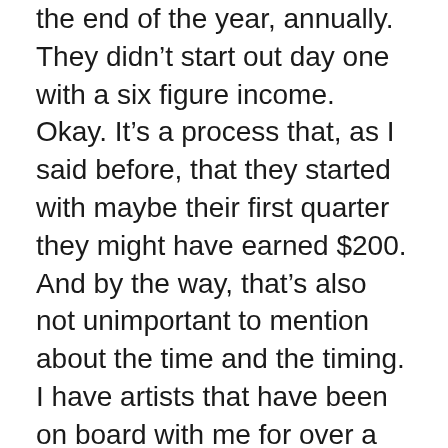the end of the year, annually. They didn't start out day one with a six figure income. Okay. It's a process that, as I said before, that they started with maybe their first quarter they might have earned $200. And by the way, that's also not unimportant to mention about the time and the timing. I have artists that have been on board with me for over a year and they're just now starting to earn royalty revenue. So they're-
Miriam Schulman:
Because of what we talked about how long it might take for a design once a